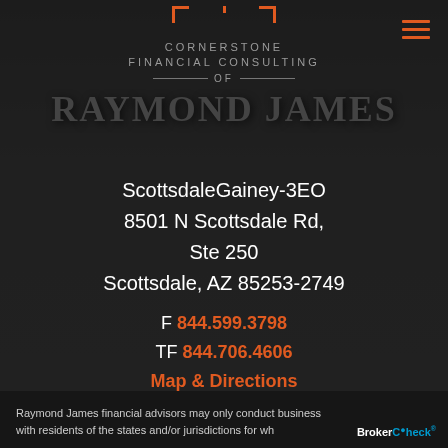[Figure (screenshot): Dark background with Cornerstone Financial Consulting of Raymond James logo/header area with red bracket icons and hamburger menu in orange]
CORNERSTONE FINANCIAL CONSULTING OF RAYMOND JAMES
ScottsdaleGainey-3EO
8501 N Scottsdale Rd,
Ste 250
scottsdale, AZ 85253-2749
F 844.599.3798
TF 844.706.4606
Map & Directions
Raymond James financial advisors may only conduct business with residents of the states and/or jurisdictions for wh...